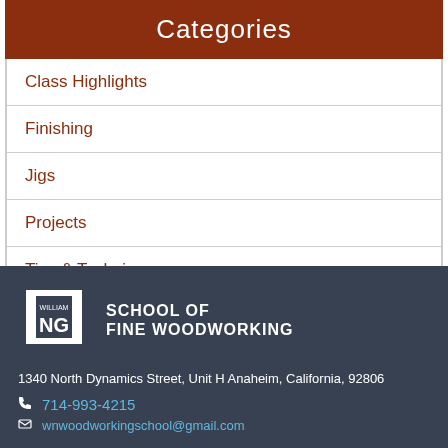Categories
Class Highlights
Finishing
Jigs
Projects
Tips & Techniques
[Figure (logo): William NG School of Fine Woodworking logo with stylized NG letters on a dark background]
1340 North Dynamics Street, Unit H Anaheim, California, 92806
714-993-4215
wnwoodworkingschool@gmail.com